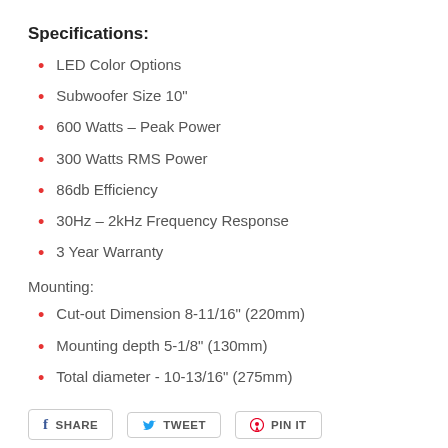Specifications:
LED Color Options
Subwoofer Size 10"
600 Watts – Peak Power
300 Watts RMS Power
86db Efficiency
30Hz – 2kHz Frequency Response
3 Year Warranty
Mounting:
Cut-out Dimension 8-11/16" (220mm)
Mounting depth 5-1/8" (130mm)
Total diameter - 10-13/16" (275mm)
SHARE   TWEET   PIN IT